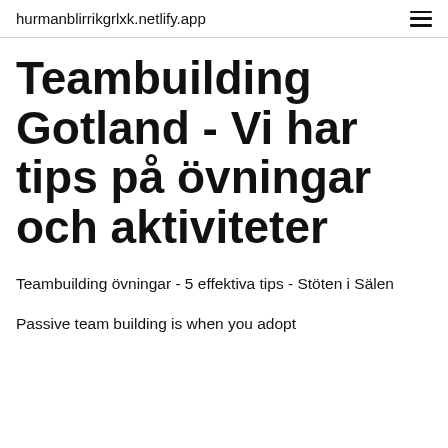hurmanblirrikgrlxk.netlify.app
Teambuilding Gotland - Vi har tips på övningar och aktiviteter
Teambuilding övningar - 5 effektiva tips - Stöten i Sälen
Passive team building is when you adopt